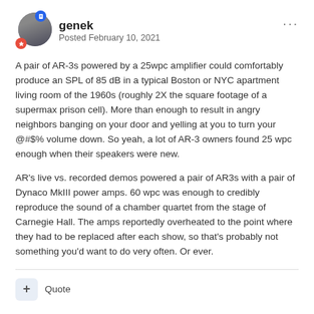genek — Posted February 10, 2021
A pair of AR-3s powered by a 25wpc amplifier could comfortably produce an SPL of 85 dB in a typical Boston or NYC apartment living room of the 1960s (roughly 2X the square footage of a supermax prison cell). More than enough to result in angry neighbors banging on your door and yelling at you to turn your @#$% volume down. So yeah, a lot of AR-3 owners found 25 wpc enough when their speakers were new.
AR's live vs. recorded demos powered a pair of AR3s with a pair of Dynaco MkIII power amps. 60 wpc was enough to credibly reproduce the sound of a chamber quartet from the stage of Carnegie Hall. The amps reportedly overheated to the point where they had to be replaced after each show, so that's probably not something you'd want to do very often. Or ever.
+ Quote